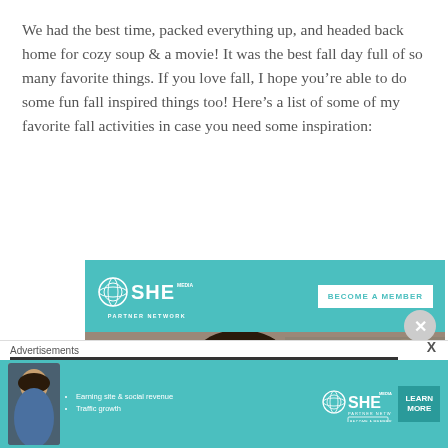We had the best time, packed everything up, and headed back home for cozy soup & a movie! It was the best fall day full of so many favorite things. If you love fall, I hope you're able to do some fun fall inspired things too! Here's a list of some of my favorite fall activities in case you need some inspiration:
[Figure (other): SHE Media Partner Network advertisement with teal background showing logo and 'BECOME A MEMBER' button, with photo of smiling woman wearing glasses using a laptop]
[Figure (other): Bottom banner advertisement for SHE Media Partner Network with teal background showing woman, bullet points 'Earning site & social revenue' and 'Traffic growth', SHE Media logo, and 'LEARN MORE' button]
Advertisements